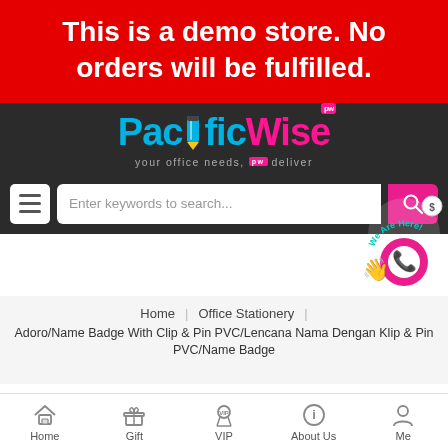This is a demo store. No orders will be fulfilled.
[Figure (logo): PacificWise logo with 'pw' badge, cyan 'Pacific' and magenta 'Wise' text on dark background, tagline 'your office needs, pw deliver']
[Figure (screenshot): Search bar with hamburger menu icon, text input 'Enter keywords to search...' and magenta search button with magnifying glass icon. WhatsApp 'We Are Here!' promotional badge in corner.]
Home | Office Stationery | Adoro/Name Badge With Clip & Pin PVC/Lencana Nama Dengan Klip & Pin PVC/Name Badge
[Figure (infographic): Bottom navigation bar with icons for Home, Gift, VIP, About Us, and Me]